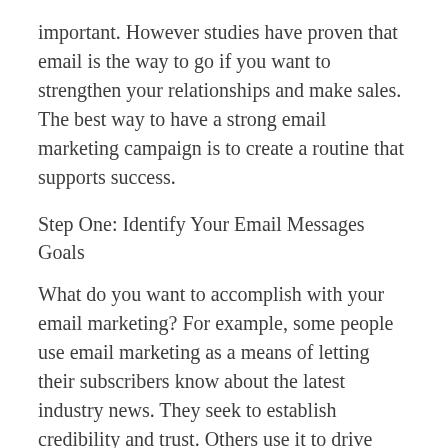important. However studies have proven that email is the way to go if you want to strengthen your relationships and make sales. The best way to have a strong email marketing campaign is to create a routine that supports success.
Step One: Identify Your Email Messages Goals
What do you want to accomplish with your email marketing? For example, some people use email marketing as a means of letting their subscribers know about the latest industry news. They seek to establish credibility and trust. Others use it to drive traffic to their blog. Establish your email marketing goal.
Step Two: Format and Structure
Now that you know what your goal is for your email messages the next step is to create a template. This template will support your goal. For example, if